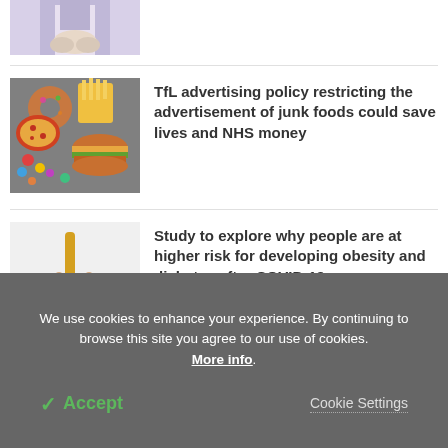[Figure (photo): Partial view of a person (torso/hands), cropped at top of page]
[Figure (photo): Overhead view of junk foods including fries, donuts, burgers, and colorful candies]
TfL advertising policy restricting the advertisement of junk foods could save lives and NHS money
[Figure (photo): Person checking blood sugar or insulin, hands holding a device against arm]
Study to explore why people are at higher risk for developing obesity and diabetes after COVID-19
We use cookies to enhance your experience. By continuing to browse this site you agree to our use of cookies. More info.
✓ Accept
Cookie Settings